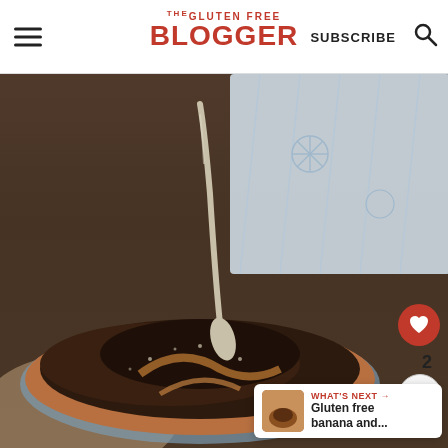THE GLUTEN FREE BLOGGER | SUBSCRIBE
[Figure (photo): Overhead close-up photo of a chocolate mug cake or pudding in a small bowl with a spoon, showing rich dark chocolate dessert with caramel visible, styled on a wooden surface with a blue patterned cloth. Social media UI overlays include a heart button (2 saves), a share button, and a 'What's Next' card for 'Gluten free banana and...']